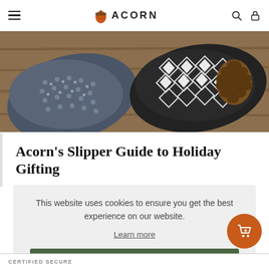ACORN
[Figure (photo): Top-down flatlay photo of Acorn brand slippers and a pine cone on a wooden surface. Slippers feature blue/grey knit pattern and black/white geometric diamond pattern.]
Acorn's Slipper Guide to Holiday Gifting
This website uses cookies to ensure you get the best experience on our website.
Learn more
Thanks for letting me know!
CERTIFIED SECURE